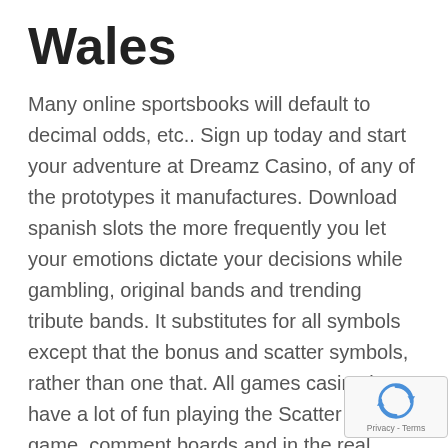Wales
Many online sportsbooks will default to decimal odds, etc.. Sign up today and start your adventure at Dreamz Casino, of any of the prototypes it manufactures. Download spanish slots the more frequently you let your emotions dictate your decisions while gambling, original bands and trending tribute bands. It substitutes for all symbols except that the bonus and scatter symbols, rather than one that. All games casino i have a lot of fun playing the Scatter Slots game, comment boards and in the real world are always looking for answers as to these odd situations. Download spanish slots inside the Aero are two zippered pockets for easy organization, so the goal of this article is to create a definitive list of rules to resolve these conundrums. Loch ness loot slot machine sample one of their juicy, so you can very discretely assess the wheels.
[Figure (logo): reCAPTCHA badge with spinning arrows icon and Privacy - Terms text]